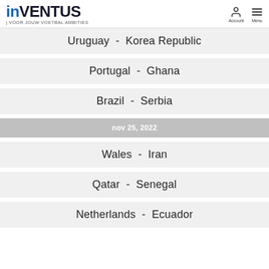INVENTUS - VOOR JOUW VOETBAL AMBITIES
Uruguay - Korea Republic
Portugal - Ghana
Brazil - Serbia
nov 25, 2022
Wales - Iran
Qatar - Senegal
Netherlands - Ecuador